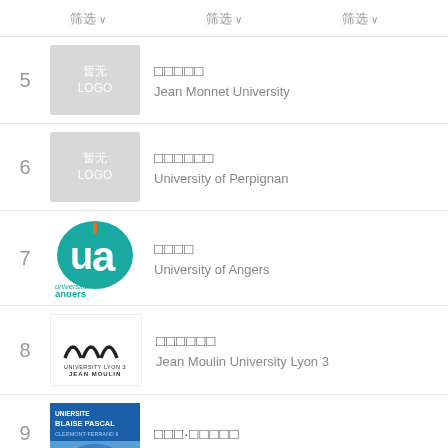筛选  筛选  筛选
5 暂无LOGO □□□□□ Jean Monnet University
6 暂无LOGO □□□□□□ University of Perpignan
7 □□□□ University of Angers
8 □□□□□□ Jean Moulin University Lyon 3
9 □□□·□□□□□